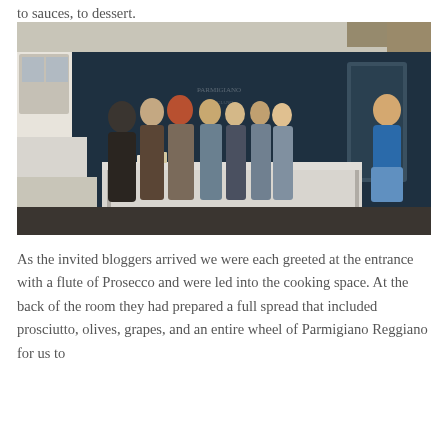to sauces, to dessert.
[Figure (photo): Group of people standing in a cooking studio with dark walls and chalkboard writing. A woman in a blue dress stands at the right side while other attendees stand around a stainless steel kitchen island.]
As the invited bloggers arrived we were each greeted at the entrance with a flute of Prosecco and were led into the cooking space. At the back of the room they had prepared a full spread that included prosciutto, olives, grapes, and an entire wheel of Parmigiano Reggiano for us to